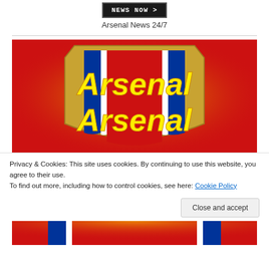[Figure (logo): News Now logo button — black background with white pixel-style text 'NEWS NOW >']
Arsenal News 24/7
[Figure (photo): Arsenal FC crest/badge — red background with golden glow, blue and white cannon design, large yellow italic 'Arsenal Arsenal' text on red shield]
Privacy & Cookies: This site uses cookies. By continuing to use this website, you agree to their use.
To find out more, including how to control cookies, see here: Cookie Policy
Close and accept
[Figure (photo): Bottom portion of Arsenal FC crest — red and blue colors visible at bottom of page]